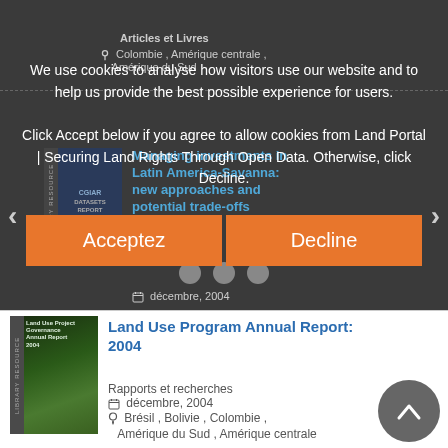[Figure (screenshot): Dark background website section showing a library resource card with blue title text, partially visible at top]
Articles et Livres
Colombie , Amérique centrale , Amérique du Sud
We use cookies to analyse how visitors use our website and to help us provide the best possible experience for users.
Click Accept below if you agree to allow cookies from Land Portal | Securing Land Rights Through Open Data. Otherwise, click Decline.
[Figure (screenshot): Library resource thumbnail image in dark section showing CGIAR dataset report cover]
Managing investments in Latin America-Savanna: new approaches and potential trade-offs
Articles et Livres
décembre, 2004
Acceptez
Decline
[Figure (photo): Book cover thumbnail for Land Use Program Annual Report 2004 showing green vegetation]
Land Use Program Annual Report: 2004
Rapports et recherches
décembre, 2004
Brésil , Bolivie , Colombie , Amérique du Sud , Amérique centrale